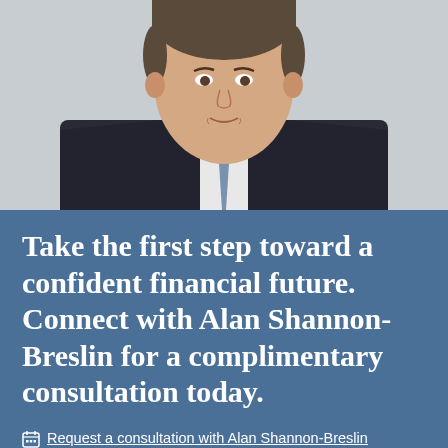[Figure (photo): Professional headshot of a man in a dark suit, white dress shirt, and blue tie, photographed against a light background]
Take the first step toward a confident financial future. Connect with Alan Shannon-Breslin for a complimentary consultation today.
Request a consultation with Alan Shannon-Breslin